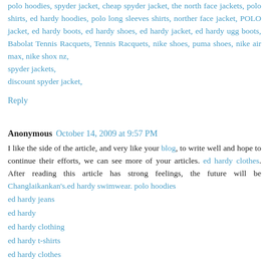polo hoodies, spyder jacket, cheap spyder jacket, the north face jackets, polo shirts, ed hardy hoodies, polo long sleeves shirts, norther face jacket, POLO jacket, ed hardy boots, ed hardy shoes, ed hardy jacket, ed hardy ugg boots, Babolat Tennis Racquets, Tennis Racquets, nike shoes, puma shoes, nike air max, nike shox nz, spyder jackets, discount spyder jacket,
Reply
Anonymous October 14, 2009 at 9:57 PM
I like the side of the article, and very like your blog, to write well and hope to continue their efforts, we can see more of your articles. ed hardy clothes. After reading this article has strong feelings, the future will be Changlaikankan's.ed hardy swimwear. polo hoodies ed hardy jeans ed hardy ed hardy clothing ed hardy t-shirts ed hardy clothes